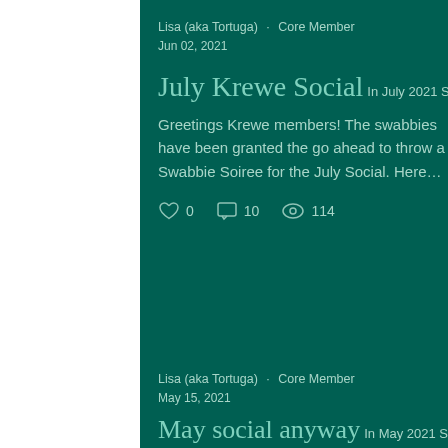Lisa (aka Tortuga) · Core Member
Jun 02, 2021
July Krewe Social
In July 2021 Social
Greetings Krewe members! The swabbies have been granted the go ahead to throw a Swabbie Soiree for the July Social. Here…
0   10   114
Lisa (aka Tortuga) · Core Member
May 15, 2021
May social anyway
In May 2021 Social
A few swabbies enjoyed some shore leave at the Bay Area Renaissance Festival for